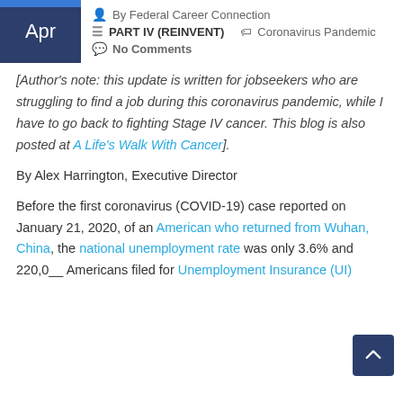Apr | By Federal Career Connection | PART IV (REINVENT) | Coronavirus Pandemic | No Comments
[Author's note: this update is written for jobseekers who are struggling to find a job during this coronavirus pandemic, while I have to go back to fighting Stage IV cancer. This blog is also posted at A Life's Walk With Cancer].
By Alex Harrington, Executive Director
Before the first coronavirus (COVID-19) case reported on January 21, 2020, of an American who returned from Wuhan, China, the national unemployment rate was only 3.6% and 220,0__ Americans filed for Unemployment Insurance (UI)